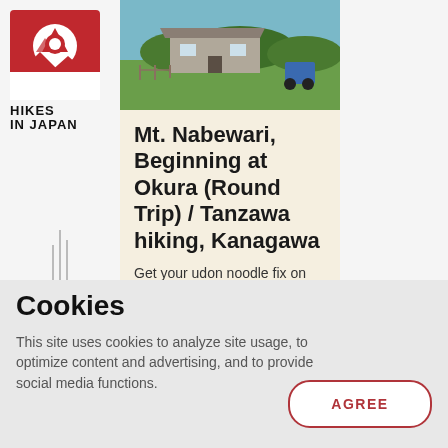[Figure (logo): Hikes in Japan logo — red square with white circle and mountain silhouette icons, text HIKES IN JAPAN below]
[Figure (photo): Outdoor photo showing a rustic farmhouse or rural building on green grassland with trees in background and blue sky]
Mt. Nabewari, Beginning at Okura (Round Trip) / Tanzawa hiking, Kanagawa
Get your udon noodle fix on this popular
Cookies
This site uses cookies to analyze site usage, to optimize content and advertising, and to provide social media functions.